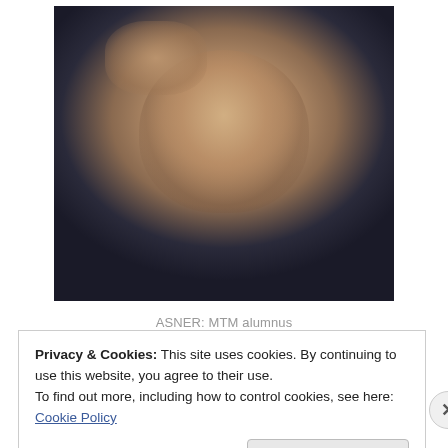[Figure (photo): Black and white/color portrait photo of Ed Asner, an older bald man resting his hand near his forehead, wearing dark clothing, smiling slightly toward the camera.]
ASNER: MTM alumnus
Privacy & Cookies: This site uses cookies. By continuing to use this website, you agree to their use.
To find out more, including how to control cookies, see here: Cookie Policy
Close and accept